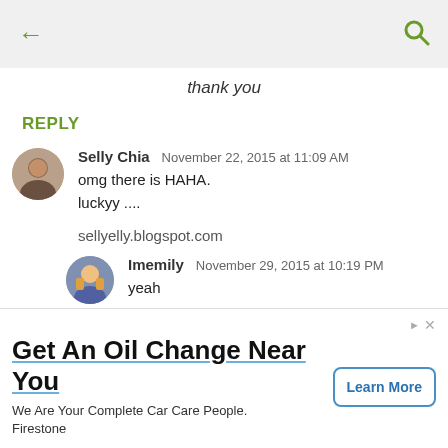← [back] [search]
thank you
REPLY
Selly Chia  November 22, 2015 at 11:09 AM
omg there is HAHA.
luckyy ....

sellyelly.blogspot.com
Imemily  November 29, 2015 at 10:19 PM
yeah
[Figure (other): Expand/collapse button with chevron down icon]
Get An Oil Change Near You
We Are Your Complete Car Care People.
Firestone
Learn More